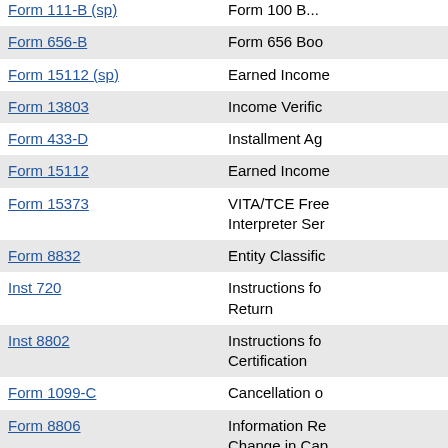| Form/Instruction | Description |
| --- | --- |
| Form 111-B (sp) | Form 100 B... |
| Form 656-B | Form 656 Boo |
| Form 15112 (sp) | Earned Income |
| Form 13803 | Income Verific |
| Form 433-D | Installment Ag |
| Form 15112 | Earned Income |
| Form 15373 | VITA/TCE Free Interpreter Ser |
| Form 8832 | Entity Classific |
| Inst 720 | Instructions fo Return |
| Inst 8802 | Instructions fo Certification |
| Form 1099-C | Cancellation o |
| Form 8806 | Information Re Change in Cap |
| Inst 8821 (zh-t) | Instructions fo (Chinese-Trad |
| Form 12153 | Request for a |
| Form 720 | Quarterly Fede |
| Inst 8991 | Instructions fo Taxpayers Wit |